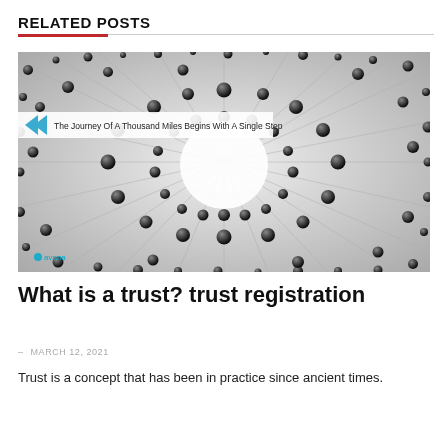RELATED POSTS
[Figure (photo): Abstract black and white photograph of spherical metallic balls arranged in a radial/sunburst pattern around a central circular void. A white overlay banner in the upper left reads 'The Journey Of A Thousand Miles Begins With A Single Step' with a blue chevron arrow. An 'avana' logo appears in the lower left corner.]
What is a trust? trust registration
- MARCH 12, 2021
Trust is a concept that has been in practice since ancient times.